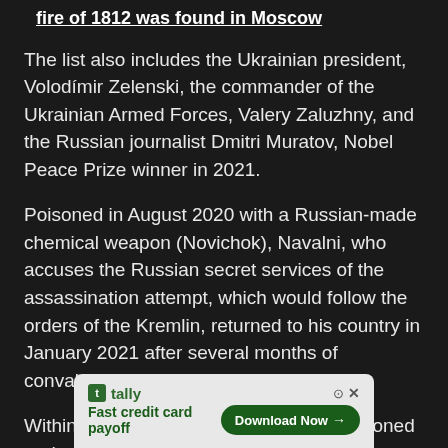fire of 1812 was found in Moscow
The list also includes the Ukrainian president, Volodímir Zelenski, the commander of the Ukrainian Armed Forces, Valery Zaluzhny, and the Russian journalist Dmitri Muratov, Nobel Peace Prize winner in 2021.
Poisoned in August 2020 with a Russian-made chemical weapon (Novichok), Navalni, who accuses the Russian secret services of the assassination attempt, which would follow the orders of the Kremlin, returned to his country in January 2021 after several months of convalescence. in Germany.
Within two weeks he was arrested, imprisoned and
[Figure (other): Advertisement banner for Tally app - Fast credit card payoff with Download Now button]